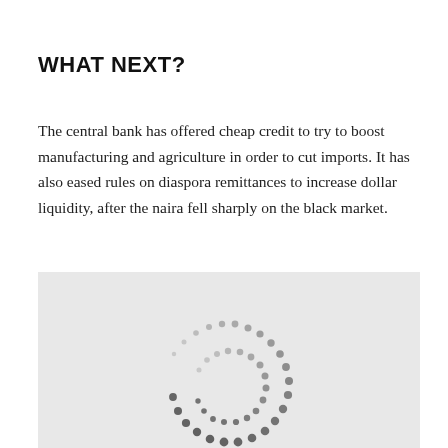WHAT NEXT?
The central bank has offered cheap credit to try to boost manufacturing and agriculture in order to cut imports. It has also eased rules on diaspora remittances to increase dollar liquidity, after the naira fell sharply on the black market.
[Figure (other): Loading spinner or decorative dot-pattern graphic shown inside a light grey box, partially visible at the bottom of the page.]